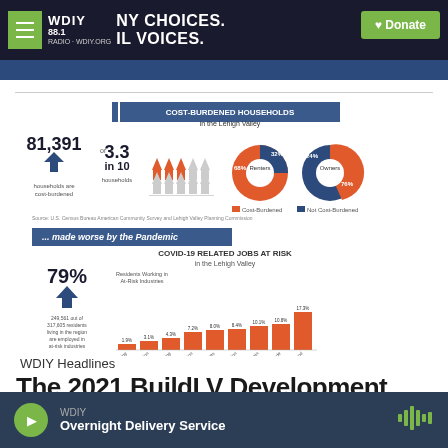WDIY 88.1 | MANY CHOICES. LOCAL VOICES. | Donate
[Figure (infographic): Cost-Burdened Households in the Lehigh Valley infographic showing 81,391 or 3.3 in 10 households are cost-burdened, with donut charts for Renters (68% cost-burdened, 32% not) and Owners (24% cost-burdened, 76% not). Below: COVID-19 Related Jobs at Risk in the Lehigh Valley bar chart showing 79% (249,561 out of 317,605 residents) employed in at-risk industries, with bars for various industry sectors ranging from ~1.9% to ~17.3%.]
WDIY Headlines
The 2021 BuildLV Development
WDIY | Overnight Delivery Service